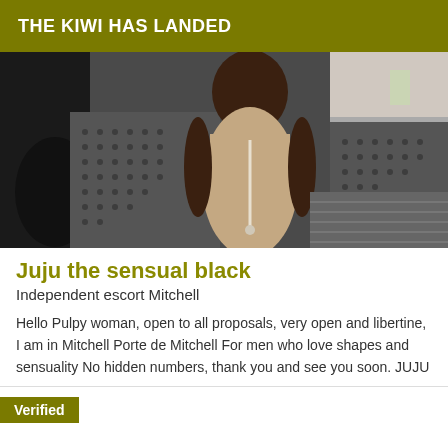THE KIWI HAS LANDED
[Figure (photo): Photo of a woman wearing a beige/taupe form-fitting dress with a white rope/tassel accent, standing in what appears to be a venue with patterned floor and bar counter in background.]
Juju the sensual black
Independent escort Mitchell
Hello Pulpy woman, open to all proposals, very open and libertine, I am in Mitchell Porte de Mitchell For men who love shapes and sensuality No hidden numbers, thank you and see you soon. JUJU
Verified